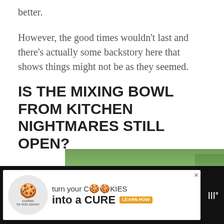better.
However, the good times wouldn't last and there's actually some backstory here that shows things might not be as they seemed.
IS THE MIXING BOWL FROM KITCHEN NIGHTMARES STILL OPEN?
The Mixing Bowl closed in January 2009, which was around a year and three months after the Kitchen Nightmares episode aired.
[Figure (screenshot): Advertisement banner: 'turn your COOKIES into a CURE LEARN HOW' with cookies for kids cancer logo]